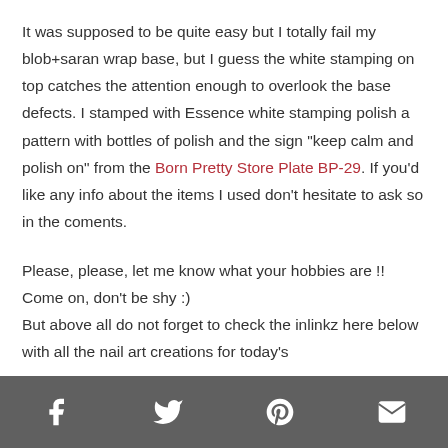It was supposed to be quite easy but I totally fail my blob+saran wrap base, but I guess the white stamping on top catches the attention enough to overlook the base defects. I stamped with Essence white stamping polish a pattern with bottles of polish and the sign "keep calm and polish on" from the Born Pretty Store Plate BP-29. If you'd like any info about the items I used don't hesitate to ask so in the coments.
Please, please, let me know what your hobbies are !!
Come on, don't be shy :)
But above all do not forget to check the inlinkz here below with all the nail art creations for today's
[Facebook] [Twitter] [Pinterest] [Email]